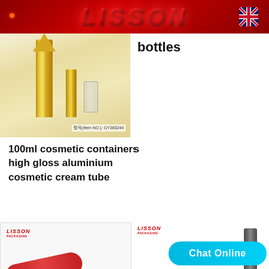LISSON
bottles
[Figure (photo): Gold/aluminum cosmetic tubes and vials with item number GY360344]
100ml cosmetic containers high gloss aluminium cosmetic cream tube
[Figure (photo): White cosmetic tube with red cap, Lisson Packaging branding]
[Figure (photo): Grey/silver cosmetic tube, Lisson Packaging branding, with Chat Online button overlay]